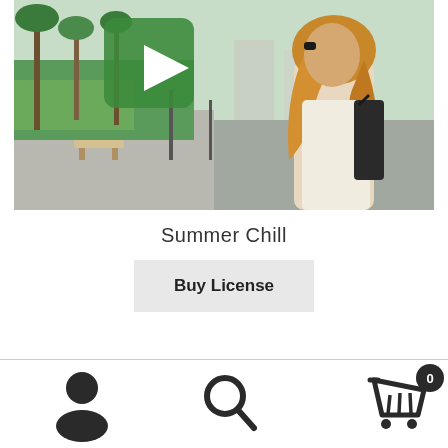[Figure (photo): Video thumbnail showing a woman with blonde hair carrying a black bag, walking along a palm-tree lined boulevard. A green play button overlay is shown in the upper-left area of the image.]
Summer Chill
Buy License
[Figure (infographic): Bottom navigation bar with three icons: a user/profile icon on the left, a search magnifying glass icon in the center, and a shopping cart icon with a badge showing '0' on the right.]